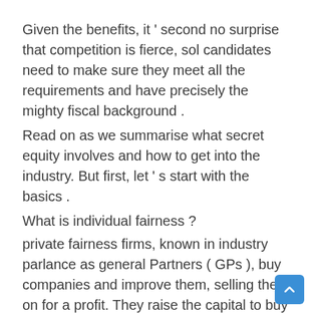Given the benefits, it ' second no surprise that competition is fierce, sol candidates need to make sure they meet all the requirements and have precisely the mighty fiscal background .
Read on as we summarise what secret equity involves and how to get into the industry. But first, let ' s start with the basics .
What is individual fairness ?
private fairness firms, known in industry parlance as general Partners ( GPs ), buy companies and improve them, selling them on for a profit. They raise the capital to buy these companies from outside investors called limited Partners ( LP ) .
It is called ' private ' fairness because the companies bought are private or become private